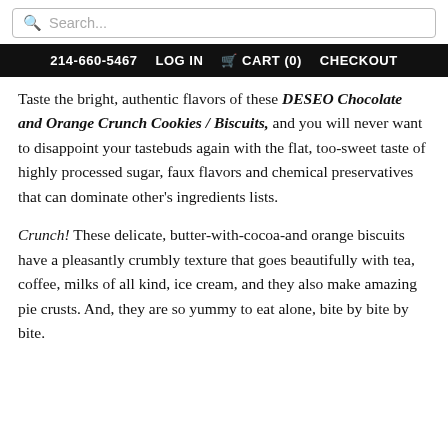Search...
214-660-5467   LOG IN   CART (0)   CHECKOUT
Taste the bright, authentic flavors of these DESEO Chocolate and Orange Crunch Cookies / Biscuits, and you will never want to disappoint your tastebuds again with the flat, too-sweet taste of highly processed sugar, faux flavors and chemical preservatives that can dominate other's ingredients lists.
Crunch! These delicate, butter-with-cocoa-and orange biscuits have a pleasantly crumbly texture that goes beautifully with tea, coffee, milks of all kind, ice cream, and they also make amazing pie crusts. And, they are so yummy to eat alone, bite by bite by bite.